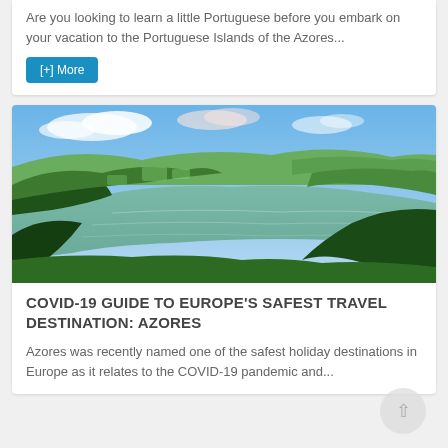Are you looking to learn a little Portuguese before you embark on your vacation to the Portuguese Islands of the Azores...
[+] More
[Figure (photo): Aerial landscape photo of the Azores island showing green hills, forests, a large lake/lagoon, and blue sky with clouds]
COVID-19 GUIDE TO EUROPE'S SAFEST TRAVEL DESTINATION: AZORES
Azores was recently named one of the safest holiday destinations in Europe as it relates to the COVID-19 pandemic and...